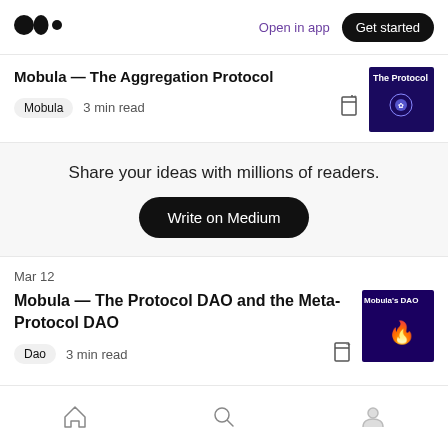[Figure (logo): Medium logo - three black circles]
Open in app
Get started
Mobula — The Aggregation Protocol
Mobula  3 min read
[Figure (photo): Dark blue background with small white snowflake/gear icon and The Protocol text]
Share your ideas with millions of readers.
Write on Medium
Mar 12
Mobula — The Protocol DAO and the Meta-Protocol DAO
Dao  3 min read
[Figure (photo): Dark purple background with flame emoji and Mobula's DAO text]
[Figure (illustration): Bottom navigation bar with home, search, and profile icons]